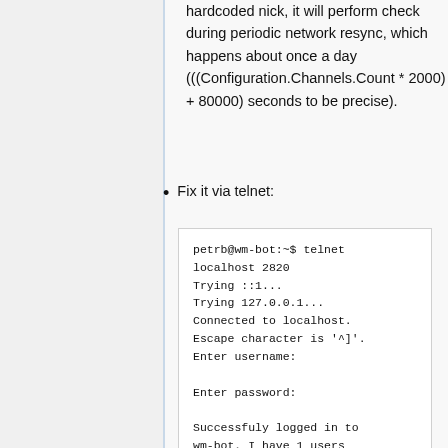With bot will automatically rejoin its hardcoded nick, it will perform check during periodic network resync, which happens about once a day (((Configuration.Channels.Count * 2000) + 80000) seconds to be precise).
Fix it via telnet:
petrb@wm-bot:~$ telnet localhost 2820
Trying ::1...
Trying 127.0.0.1...
Connected to localhost.
Escape character is '^]'.
Enter username:

Enter password:

Successfuly logged in to wm-bot, I have 1 users logged in
send wm-bot NICK wm-bot